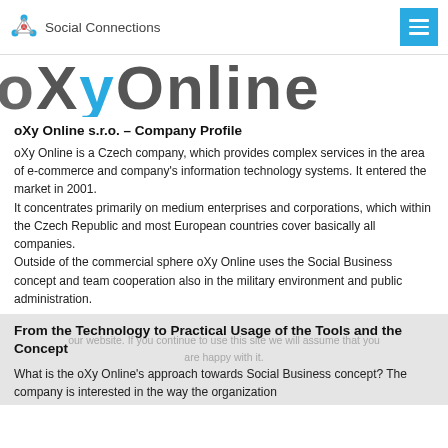Social Connections
[Figure (logo): oXy Online large stylized logo text in dark gray and blue across the top banner]
oXy Online s.r.o. – Company Profile
oXy Online is a Czech company, which provides complex services in the area of e-commerce and company's information technology systems. It entered the market in 2001.
It concentrates primarily on medium enterprises and corporations, which within the Czech Republic and most European countries cover basically all companies.
Outside of the commercial sphere oXy Online uses the Social Business concept and team cooperation also in the military environment and public administration.
From the Technology to Practical Usage of the Tools and the Concept
What is the oXy Online's approach towards Social Business concept? The company is interested in the way the organization